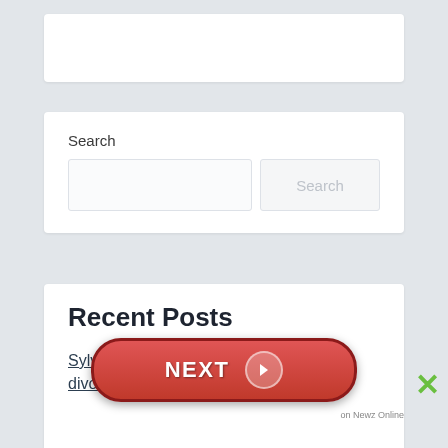[Figure (screenshot): White banner/advertisement card at top of page]
Search
[Figure (screenshot): Search widget with text input field and Search button]
Recent Posts
Sylvester Stallone and Jennifer Flavin divorce over her rottweiler dog
[Figure (other): NEXT navigation button overlay with red pill shape and right arrow, plus green X close button and 'on Newz Online' watermark]